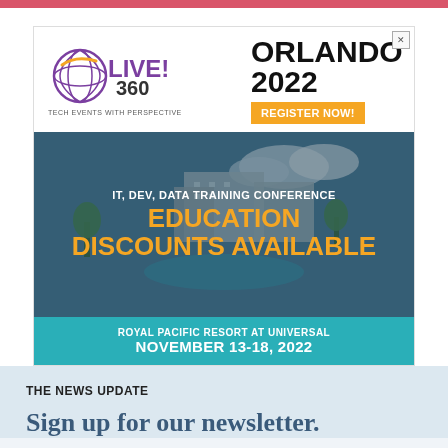[Figure (illustration): Live! 360 Tech Events with Perspective advertisement for Orlando 2022 conference. Features logo, ORLANDO 2022 text, REGISTER NOW button, IT DEV DATA TRAINING CONFERENCE, EDUCATION DISCOUNTS AVAILABLE in orange, resort photo background, and ROYAL PACIFIC RESORT AT UNIVERSAL NOVEMBER 13-18, 2022 in teal bar.]
THE NEWS UPDATE
Sign up for our newsletter.